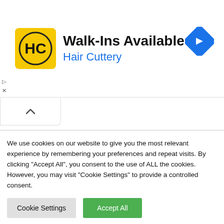[Figure (other): Hair Cuttery advertisement banner with HC logo, 'Walk-Ins Available' heading, 'Hair Cuttery' subtitle in blue, and a blue navigation arrow icon]
[Figure (other): Chevron/caret up arrow tab button]
RELATED ARTICLES
[Figure (photo): Dark thumbnail photo of celebrity confronting paparazzi]
Popular Celebs Who Have Fought Back Against The Paparazzi
We use cookies on our website to give you the most relevant experience by remembering your preferences and repeat visits. By clicking "Accept All", you consent to the use of ALL the cookies. However, you may visit "Cookie Settings" to provide a controlled consent.